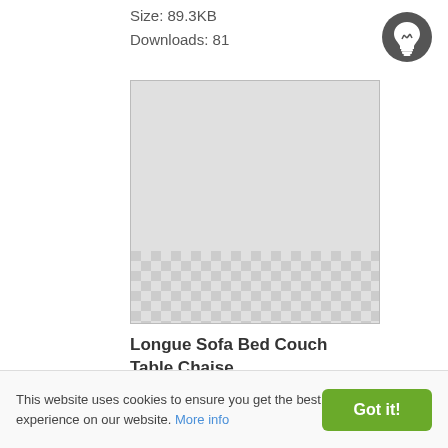Size: 89.3KB
Downloads: 81
[Figure (illustration): Preview image of Longue Sofa Bed Couch Table Chaise PNG file, mostly light gray with checkerboard pattern at the bottom indicating transparency]
Longue Sofa Bed Couch Table Chaise
Format: PNG
Size: 337.3KB
Downloads: 81
[Figure (illustration): Partial preview of another image, cut off at the bottom of the page]
This website uses cookies to ensure you get the best experience on our website. More info